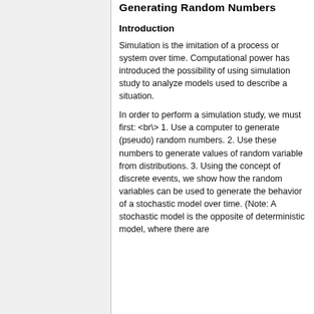Generating Random Numbers
Introduction
Simulation is the imitation of a process or system over time. Computational power has introduced the possibility of using simulation study to analyze models used to describe a situation.
In order to perform a simulation study, we must first: <br\> 1. Use a computer to generate (pseudo) random numbers. 2. Use these numbers to generate values of random variable from distributions. 3. Using the concept of discrete events, we show how the random variables can be used to generate the behavior of a stochastic model over time. (Note: A stochastic model is the opposite of deterministic model, where there are